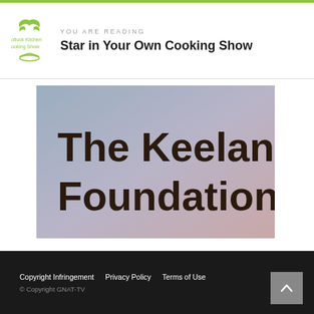YOU ARE READING
Star in Your Own Cooking Show
[Figure (illustration): Gradient rectangle image with blue-gray to pink gradient background, showing the text 'The Keelan Foundation' in large dark brown sans-serif font]
Copyright Infringement  Privacy Policy  Terms of Use
© Copyright GNAT-TV